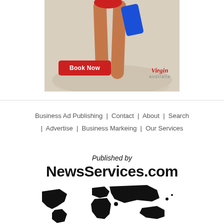[Figure (photo): Virgin Australia advertisement banner showing a person's legs on a sandy beach holding a blue bag, with a 'Book Now' red button and Virgin Australia logo]
Business Ad Publishing | Contact | About | Search | Advertise | Business Markeing | Our Services
Published by
NewsServices.com
[Figure (illustration): Black silhouette world map]